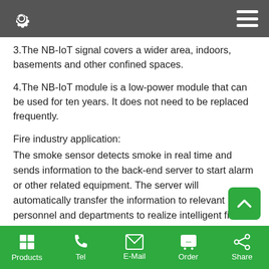3.The NB-IoT signal covers a wider area, indoors, basements and other confined spaces.
4.The NB-IoT module is a low-power module that can be used for ten years. It does not need to be replaced frequently.
Fire industry application:
The smoke sensor detects smoke in real time and sends information to the back-end server to start alarm or other related equipment. The server will automatically transfer the information to relevant personnel and departments to realize intelligent fire solution. In practical applications, according to fire protection requirements, the installation of smoke detectors will be densely distributed, which is
Products  Tel  E-Mail  Order  Share